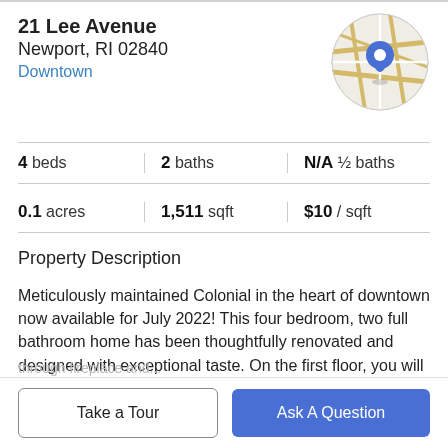21 Lee Avenue
Newport, RI 02840
Downtown
[Figure (map): Circular map thumbnail showing street map with blue location pin marker]
| Stat | Value |
| --- | --- |
| 4 beds | 2 baths | N/A ½ baths |
| 0.1 acres | 1,511 sqft | $10 / sqft |
Property Description
Meticulously maintained Colonial in the heart of downtown now available for July 2022! This four bedroom, two full bathroom home has been thoughtfully renovated and designed with exceptional taste. On the first floor, you will walk into a beautiful sun-filled living room with a see-
Take a Tour
Ask A Question